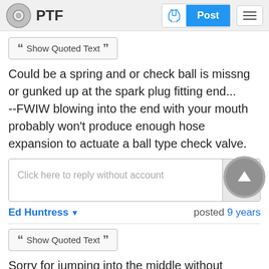PTF | Post
Show Quoted Text
Could be a spring and or check ball is missng or gunked up at the spark plug fitting end...
--FWIW blowing into the end with your mouth probably won't produce enough hose expansion to actuate a ball type check valve.
Click here to reply without account
Ed Huntress  posted 9 years
Show Quoted Text
Sorry for jumping into the middle without having read